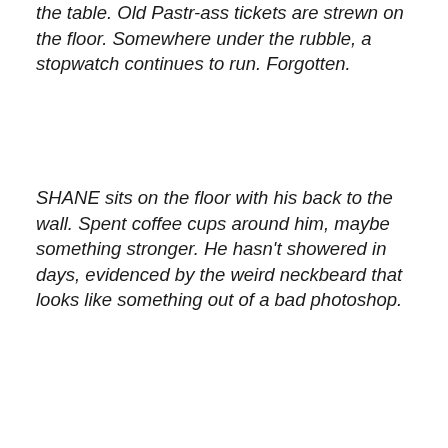the table. Old Pastr-ass tickets are strewn on the floor. Somewhere under the rubble, a stopwatch continues to run. Forgotten.
SHANE sits on the floor with his back to the wall. Spent coffee cups around him, maybe something stronger. He hasn't showered in days, evidenced by the weird neckbeard that looks like something out of a bad photoshop.